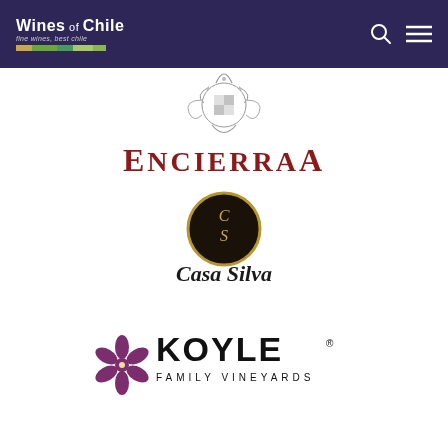Wines of Chile
[Figure (logo): Encierra winery logo — decorative crest ornament above the word ENCIERRA in bold serif red uppercase letters]
[Figure (logo): Casa Silva winery logo — black oval medallion with gold CS monogram above cursive script text reading Casa Silva]
[Figure (logo): Koyle Family Vineyards logo — purple flower/snowflake emblem to the left of KOYLE in large bold black caps, with FAMILY VINEYARDS in smaller spaced caps below]